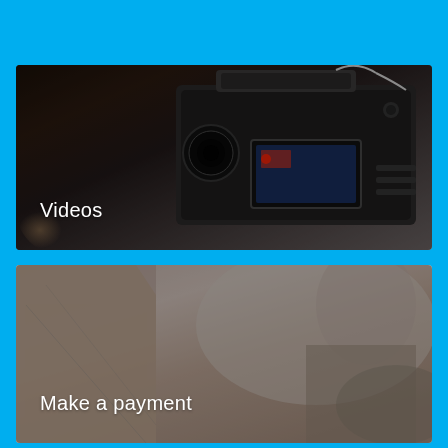[Figure (photo): Photo of professional video camera equipment with monitors, overlaid with dark tint. White text label 'Videos' in lower-left corner.]
[Figure (photo): Photo of a laptop keyboard and trackpad, blurred background showing a person in an airplane or office setting. Dark overlay. White text label 'Make a payment' in lower-left corner.]
[Figure (photo): Photo of two people in business attire (suits), partially cropped. Dark overlay. Partially visible at bottom of page.]